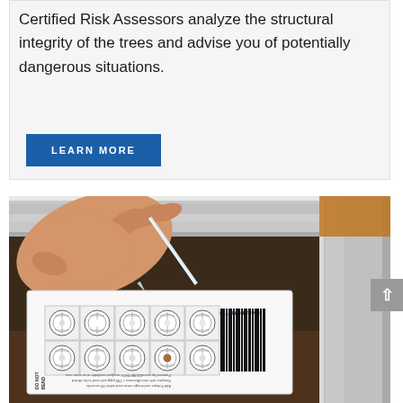Certified Risk Assessors analyze the structural integrity of the trees and advise you of potentially dangerous situations.
LEARN MORE
[Figure (photo): A hand using a dropper/pipette to apply a sample onto a microBIOMETER field card, placed on a reflective metal surface. The card shows a grid of circular test spots and text including 'microBIOMETER Field Card' and 'DO NOT BEND'.]